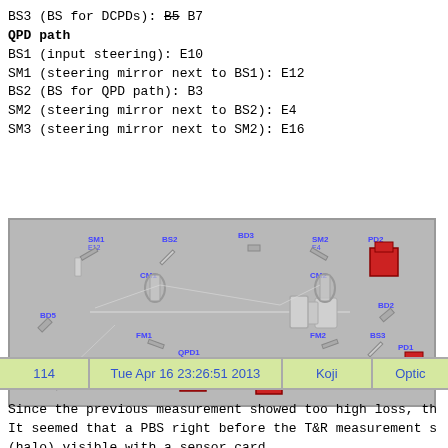BS3 (BS for DCPDs): B5 B7
QPD path
BS1 (input steering): E10
SM1 (steering mirror next to BS1): E12
BS2 (BS for QPD path): B3
SM2 (steering mirror next to BS2): E4
SM3 (steering mirror next to SM2): E16
[Figure (engineering-diagram): Optical layout diagram showing components: SM1, BS2, BD3, SM2, PD2, CM1, CM2, BD2, BD5, FM1, FM2, BS3, PD1, BD1, BS1, QPD1, QPD2, BD4, SM3 arranged in an optical path on a grey background]
| 114 | Tue Apr 16 23:26:51 2013 | Koji | Optic |
| --- | --- | --- | --- |
Since the previous measurement showed too high loss, th It seemed that a PBS right before the T&R measurement s (halo) visible with a sensor card.

This PBS was placed to confirm the output polarization it.